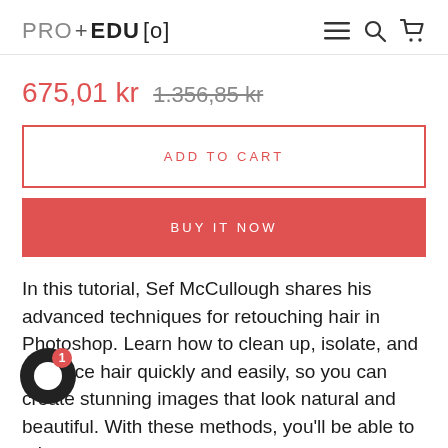PRO+EDU [o]
675,01 kr  1.356,85 kr
ADD TO CART
BUY IT NOW
In this tutorial, Sef McCullough shares his advanced techniques for retouching hair in Photoshop. Learn how to clean up, isolate, and enhance hair quickly and easily, so you can create stunning images that look natural and beautiful. With these methods, you'll be able to take your